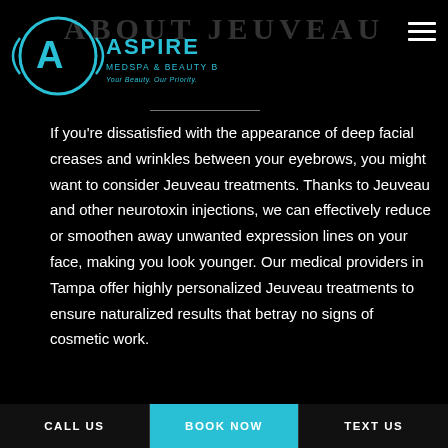[Figure (logo): Aspire Medspa & Beauty Bar logo with teal circular A symbol and text]
ABOUT JEUVEAU
If you're dissatisfied with the appearance of deep facial creases and wrinkles between your eyebrows, you might want to consider Jeuveau treatments. Thanks to Jeuveau and other neurotoxin injections, we can effectively reduce or smoothen away unwanted expression lines on your face, making you look younger. Our medical providers in Tampa offer highly personalized Jeuveau treatments to ensure naturalized results that betray no signs of cosmetic work.
CALL US   BOOK NOW   TEXT US